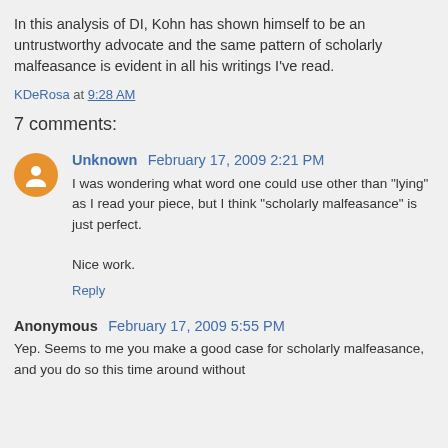In this analysis of DI, Kohn has shown himself to be an untrustworthy advocate and the same pattern of scholarly malfeasance is evident in all his writings I've read.
KDeRosa at 9:28 AM
7 comments:
Unknown February 17, 2009 2:21 PM
I was wondering what word one could use other than "lying" as I read your piece, but I think "scholarly malfeasance" is just perfect.

Nice work.
Reply
Anonymous February 17, 2009 5:55 PM
Yep. Seems to me you make a good case for scholarly malfeasance, and you do so this time around without